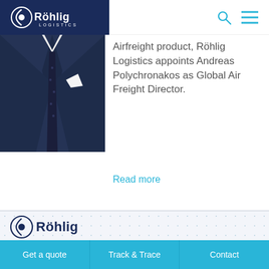Röhlig Logistics
[Figure (photo): Man in dark navy suit with dotted tie and white pocket square, partial view from chest up]
Airfreight product, Röhlig Logistics appoints Andreas Polychronakos as Global Air Freight Director.
Read more
[Figure (logo): Röhlig Logistics logo in the footer area]
Get a quote | Track & Trace | Contact